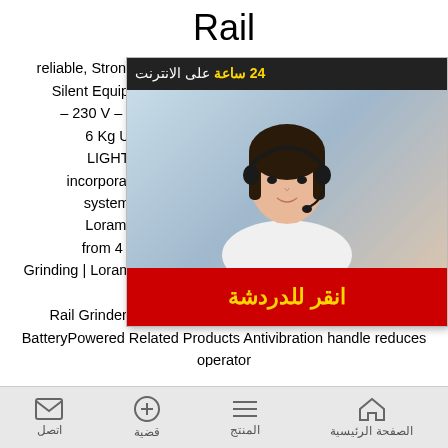Rail
reliable, Strong and ,(It is forbidden to use th…) Silent Equipments NP5 PORTABLE RAIL GR… W – 230 V – 50 Hz Ø 115 mm Cup Grinding W… = 6 Kg USE: finishing Grinding after Alu… .7 LIGHTWEIGHT PORTABLE RAIL GRI… rs incorporate high power, flexible grinding mo… ol systems to deliver industryleading spe… ty Loram's rail grinding product portfolio off… ns from 4 to 120 stones, providing the ideal … ail Grinding | LoramPortable Rail Grinder, TwoCycle GasPowered Portable Rail Grinder, FourCycle GasPowered Portable Rail Grinder, BatteryPowered Related Products Antivibration handle reduces operator fatigue and helps provide proper balance while operating the grinder;
[Figure (screenshot): Arabic-language chat popup overlay with woman wearing headset, header showing '24 ساعة على الانترنت' in black/yellow, and red button with Arabic text 'انقر للدردشة']
اتصل | قضية | المنتج | الصفحة الرئيسية